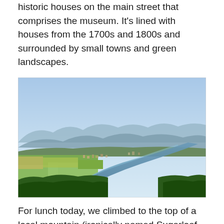historic houses on the main street that comprises the museum. It's lined with houses from the 1700s and 1800s and surrounded by small towns and green landscapes.
[Figure (photo): Aerial/elevated view of a river curving through a green valley with farmland, forests, and small towns, with mountains and hazy blue sky in the background.]
For lunch today, we climbed to the top of a local mountain (ironically named Sugarloaf, just like one of our mountains in Maryland) to look out on the landscape below, the